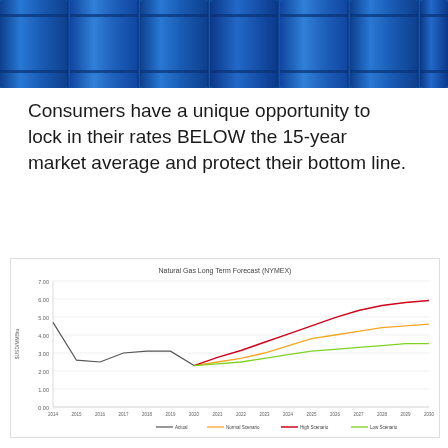[Figure (photo): Blue industrial barrels/drums stacked together, top portion of the page]
Consumers have a unique opportunity to lock in their rates BELOW the 15-year market average and protect their bottom line.
[Figure (line-chart): Natural Gas Long Term Forecast (NYMEX)]